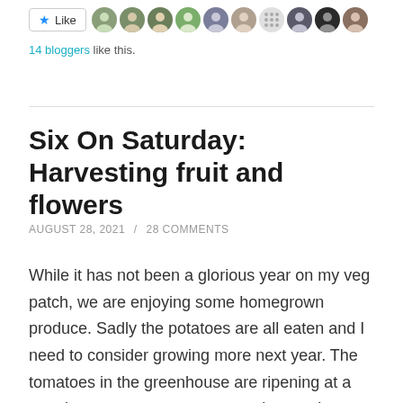[Figure (other): Like button with star icon followed by a row of avatar photos of bloggers who liked the post]
14 bloggers like this.
Six On Saturday: Harvesting fruit and flowers
AUGUST 28, 2021 / 28 COMMENTS
While it has not been a glorious year on my veg patch, we are enjoying some homegrown produce. Sadly the potatoes are all eaten and I need to consider growing more next year. The tomatoes in the greenhouse are ripening at a steady pace now, courgettes and cucumbers keep coming and the rather erratic strawberries seem to have finally found their fruiting